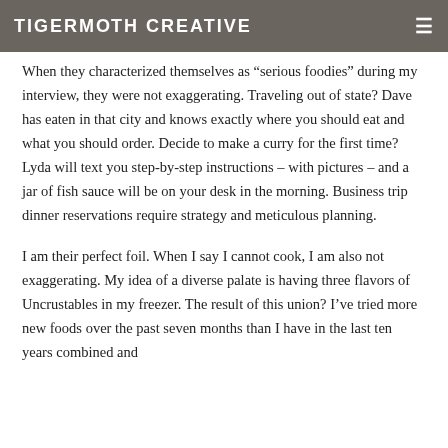TIGERMOTH CREATIVE
When they characterized themselves as “serious foodies” during my interview, they were not exaggerating. Traveling out of state? Dave has eaten in that city and knows exactly where you should eat and what you should order. Decide to make a curry for the first time? Lyda will text you step-by-step instructions – with pictures – and a jar of fish sauce will be on your desk in the morning. Business trip dinner reservations require strategy and meticulous planning.
I am their perfect foil. When I say I cannot cook, I am also not exaggerating. My idea of a diverse palate is having three flavors of Uncrustables in my freezer. The result of this union? I’ve tried more new foods over the past seven months than I have in the last ten years combined and